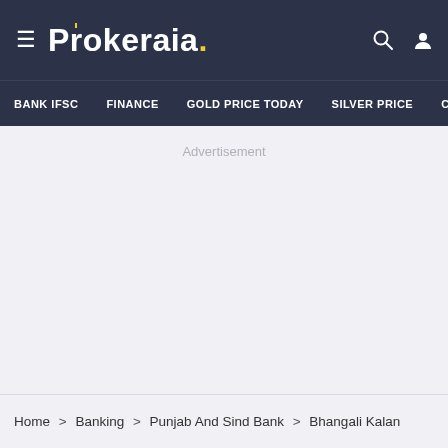≡ Prokeraia. [search icon] [user icon]
BANK IFSC  FINANCE  GOLD PRICE TODAY  SILVER PRICE  CU
Advertisement
Home > Banking > Punjab And Sind Bank > Bhangali Kalan